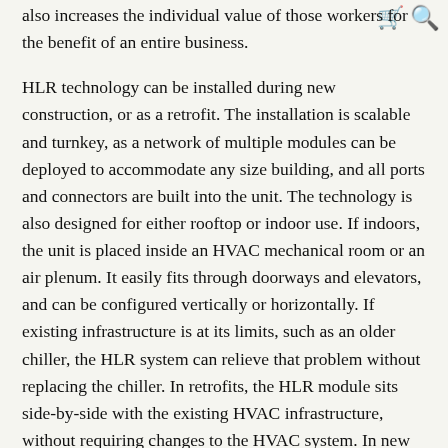also increases the individual value of those workers for the benefit of an entire business.
HLR technology can be installed during new construction, or as a retrofit. The installation is scalable and turnkey, as a network of multiple modules can be deployed to accommodate any size building, and all ports and connectors are built into the unit. The technology is also designed for either rooftop or indoor use. If indoors, the unit is placed inside an HVAC mechanical room or an air plenum. It easily fits through doorways and elevators, and can be configured vertically or horizontally. If existing infrastructure is at its limits, such as an older chiller, the HLR system can relieve that problem without replacing the chiller. In retrofits, the HLR module sits side-by-side with the existing HVAC infrastructure, without requiring changes to the HVAC system. In new construction, there are a number of significant benefits in addition to